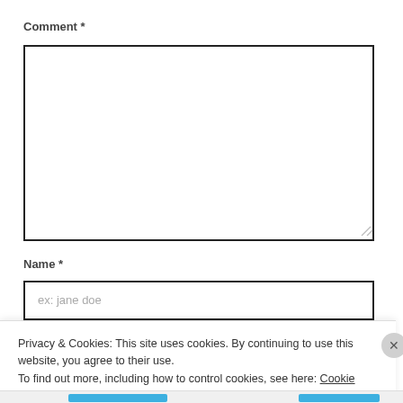Comment *
[Figure (other): Empty comment textarea input box with resize handle at bottom right]
Name *
[Figure (other): Name text input field with placeholder text 'ex: jane doe']
Privacy & Cookies: This site uses cookies. By continuing to use this website, you agree to their use.
To find out more, including how to control cookies, see here: Cookie Policy
Close and accept